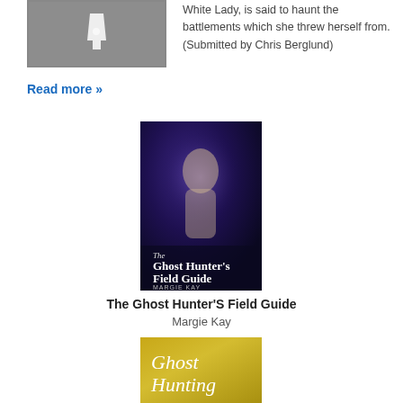[Figure (photo): Dark grey image, possibly a castle or building photo crop, shown at top left]
White Lady, is said to haunt the battlements which she threw herself from. (Submitted by Chris Berglund)
Read more »
[Figure (photo): Book cover of 'The Ghost Hunter's Field Guide' by Margie Kay, dark blue-purple background with ghostly figure]
The Ghost Hunter'S Field Guide
Margie Kay
[Figure (photo): Book cover showing 'Ghost Hunting' text on gold/olive background with reflection below]